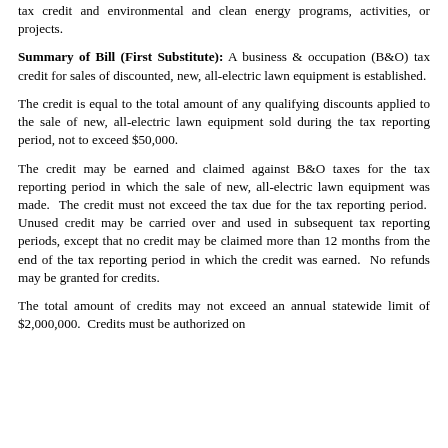tax credit and environmental and clean energy programs, activities, or projects.
Summary of Bill (First Substitute): A business & occupation (B&O) tax credit for sales of discounted, new, all-electric lawn equipment is established.
The credit is equal to the total amount of any qualifying discounts applied to the sale of new, all-electric lawn equipment sold during the tax reporting period, not to exceed $50,000.
The credit may be earned and claimed against B&O taxes for the tax reporting period in which the sale of new, all-electric lawn equipment was made.  The credit must not exceed the tax due for the tax reporting period.  Unused credit may be carried over and used in subsequent tax reporting periods, except that no credit may be claimed more than 12 months from the end of the tax reporting period in which the credit was earned.  No refunds may be granted for credits.
The total amount of credits may not exceed an annual statewide limit of $2,000,000.  Credits must be authorized on